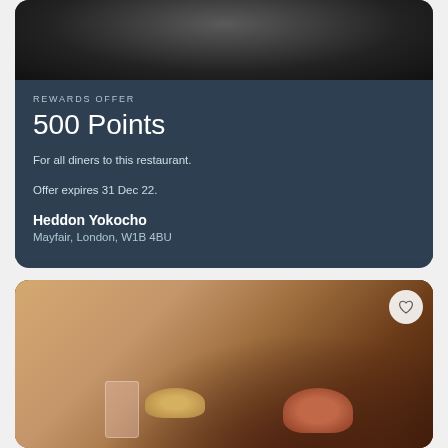[Figure (photo): Top of restaurant card showing a partially visible food/drink photo in dark tones at the top]
REWARDS OFFER
500 Points
For all diners to this restaurant.
Offer expires 31 Dec 22.
Heddon Yokocho
Mayfair, London, W1B 4BU
[Figure (photo): Restaurant card showing food items: a pink drink in a glass, fries on a plate, and a loaded burger/hot dog, on a warm tan background with dark shadow on right]